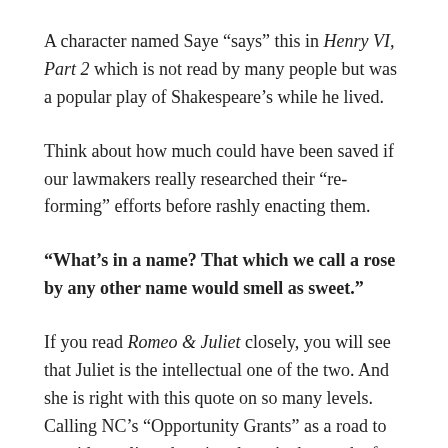A character named Saye “says” this in Henry VI, Part 2 which is not read by many people but was a popular play of Shakespeare’s while he lived.
Think about how much could have been saved if our lawmakers really researched their “re-forming” efforts before rashly enacting them.
“What’s in a name? That which we call a rose by any other name would smell as sweet.”
If you read Romeo & Juliet closely, you will see that Juliet is the intellectual one of the two. And she is right with this quote on so many levels. Calling NC’s “Opportunity Grants” as a road to provide quality education doesn’t change the fact that they are weak vouchers. Calling charter schools